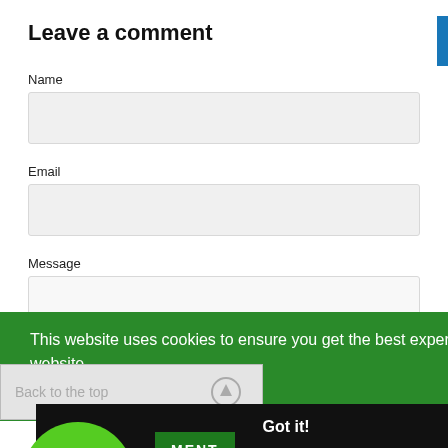Leave a comment
Name
Email
Message
This website uses cookies to ensure you get the best experience on our website.
Learn More
Back to the top
Got it!
GET 10% OFF 🎁
are
MENT